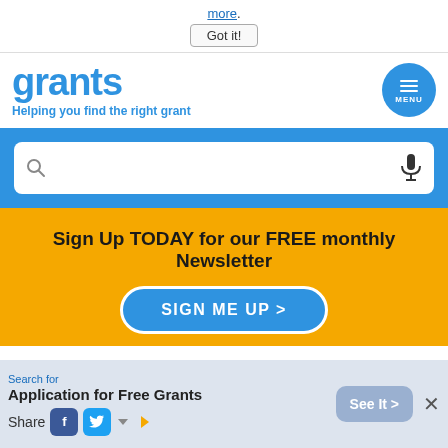more.
Got it!
grants
Helping you find the right grant
[Figure (other): Search bar with microphone icon on blue background]
Sign Up TODAY for our FREE monthly Newsletter
SIGN ME UP >
Home › Grants for Housing › Grants for
Search for
Application for Free Grants
See It >
Share